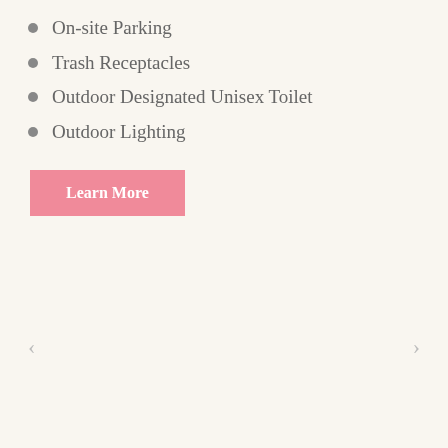On-site Parking
Trash Receptacles
Outdoor Designated Unisex Toilet
Outdoor Lighting
Learn More